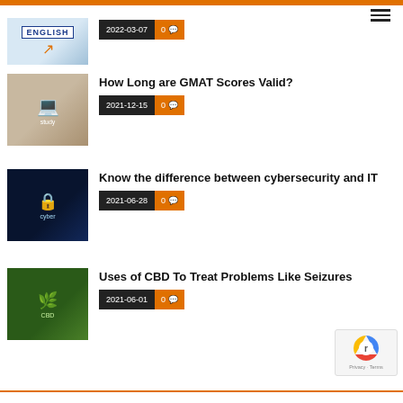[Article] ENGLISH — 2022-03-07 · 0 comments
How Long are GMAT Scores Valid? — 2021-12-15 · 0 comments
Know the difference between cybersecurity and IT — 2021-06-28 · 0 comments
Uses of CBD To Treat Problems Like Seizures — 2021-06-01 · 0 comments